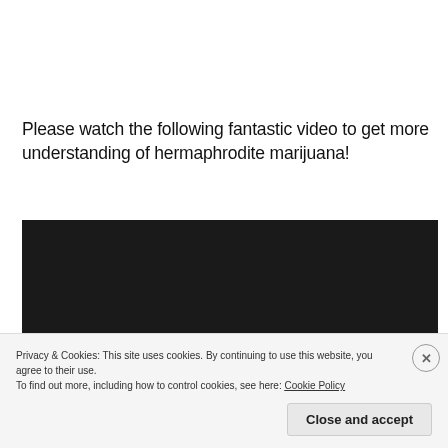Please watch the following fantastic video to get more understanding of hermaphrodite marijuana!
[Figure (screenshot): Embedded YouTube video player showing an age-restricted video. Dark background with a warning icon (circle with exclamation mark), text reading 'This video is age-restricted and only available on YouTube. Learn more' and 'Watch on YouTube'.]
Privacy & Cookies: This site uses cookies. By continuing to use this website, you agree to their use.
To find out more, including how to control cookies, see here: Cookie Policy
Close and accept